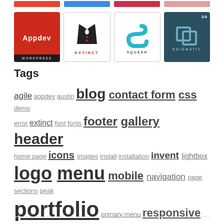[Figure (logo): Top partial strip showing four colored bars (red, blue, crimson, pink) at top of page]
[Figure (logo): Four software/theme logos in a row: Appdev WordPress (red background), Extinct (white background with tuxedo illustration), Squash (white background with S logo), Enigmatic 3.0 (dark teal background)]
Tags
agile appdev austin blog contact form css demo error extinct font fonts footer gallery header home page icons images install installation invent lightbox logo menu mobile navigation page sections peak portfolio primary menu responsive revolution slider setup shortcode shortcodes sidebar slider social icons tabs testimonials theme update video visual composer widget woocommerce